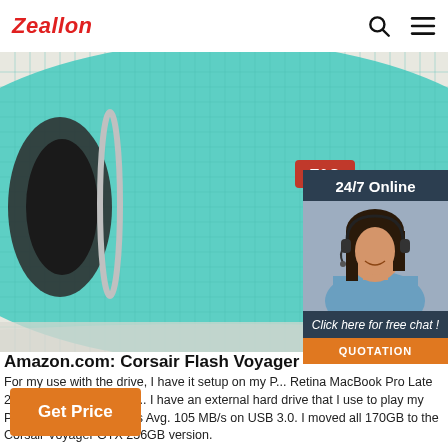Zeallon
[Figure (photo): Close-up photo of a teal/mint T&G branded portable Bluetooth speaker on a light background]
[Figure (infographic): 24/7 Online chat widget with a smiling woman wearing a headset, dark navy background, 'Click here for free chat!' text, and an orange QUOTATION button]
Amazon.com: Corsair Flash Voyager GTX US
For my use with the drive, I have it setup on my P... Retina MacBook Pro Late 2013 Model fully loaded... I have an external hard drive that I use to play my PC games from that runs Avg. 105 MB/s on USB 3.0. I moved all 170GB to the Corsair Voyager GTX 256GB version.
Get Price